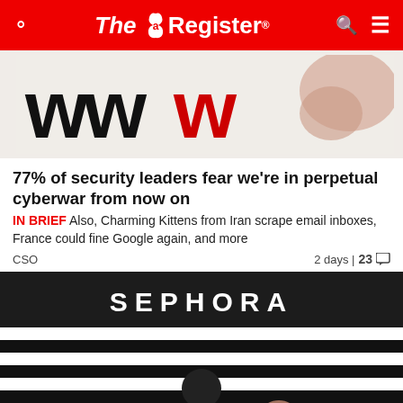The Register
[Figure (photo): Close-up of hand writing 'www' in large black letters with red W on light background]
77% of security leaders fear we're in perpetual cyberwar from now on
IN BRIEF Also, Charming Kittens from Iran scrape email inboxes, France could fine Google again, and more
CSO   2 days | 23 comments
[Figure (photo): Sephora store front with black and white striped facade and Sephora signage]